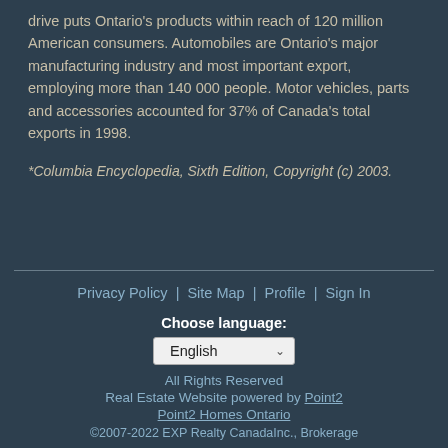drive puts Ontario's products within reach of 120 million American consumers. Automobiles are Ontario's major manufacturing industry and most important export, employing more than 140 000 people. Motor vehicles, parts and accessories accounted for 37% of Canada's total exports in 1998.
*Columbia Encyclopedia, Sixth Edition, Copyright (c) 2003.
Privacy Policy | Site Map | Profile | Sign In
Choose language: English
All Rights Reserved
Real Estate Website powered by Point2
Point2 Homes Ontario
©2007-2022 EXP Realty CanadaInc., Brokerage